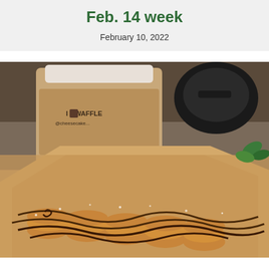Feb. 14 week
February 10, 2022
[Figure (photo): Photo of bubble waffle rolls drizzled with chocolate sauce in a cardboard tray, with an 'I Love Waffles' branded coffee cup in the background.]